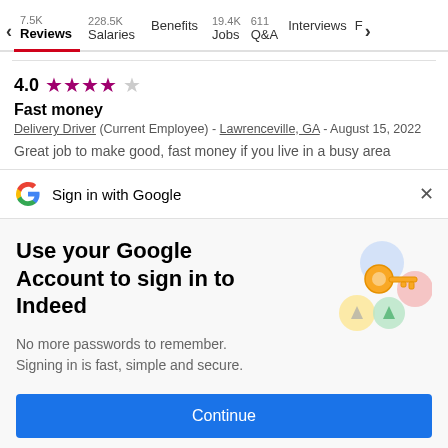7.5K Reviews | 228.5K Salaries | Benefits | 19.4K Jobs | 611 Q&A | Interviews | F
4.0 ★★★★☆ Fast money
Delivery Driver (Current Employee) - Lawrenceville, GA - August 15, 2022
Great job to make good, fast money if you live in a busy area
Sign in with Google ×
[Figure (illustration): Google sign-in prompt with key illustration. Text: Use your Google Account to sign in to Indeed. No more passwords to remember. Signing in is fast, simple and secure. Continue button.]